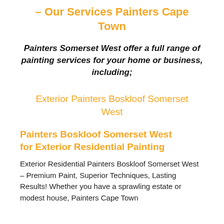– Our Services Painters Cape Town
Painters Somerset West offer a full range of painting services for your home or business, including;
Exterior Painters Boskloof Somerset West
Painters Boskloof Somerset West for Exterior Residential Painting
Exterior Residential Painters Boskloof Somerset West – Premium Paint, Superior Techniques, Lasting Results! Whether you have a sprawling estate or modest house, Painters Cape Town